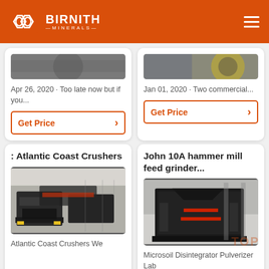BIRNITH MINERALS
[Figure (screenshot): Partial image of industrial machinery at top of left card]
Apr 26, 2020 · Too late now but if you...
Get Price
[Figure (screenshot): Partial image of circular industrial part at top of right card]
Jan 01, 2020 · Two commercial...
Get Price
: Atlantic Coast Crushers
[Figure (photo): Industrial crusher machine in warehouse/factory setting]
Atlantic Coast Crushers We
John 10A hammer mill feed grinder...
[Figure (photo): Industrial hammer mill / impact crusher machine]
Microsoil Disintegrator Pulverizer Lab